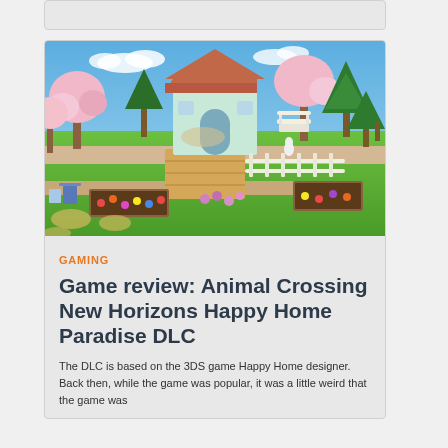[Figure (screenshot): Animal Crossing New Horizons game screenshot showing a colorful island scene with a mint-green house, pink cherry blossom trees, green conifer trees, wooden ramps, fences, flower gardens, and outdoor furniture on a bright sunny day.]
GAMING
Game review: Animal Crossing New Horizons Happy Home Paradise DLC
The DLC is based on the 3DS game Happy Home designer. Back then, while the game was popular, it was a little weird that the game was